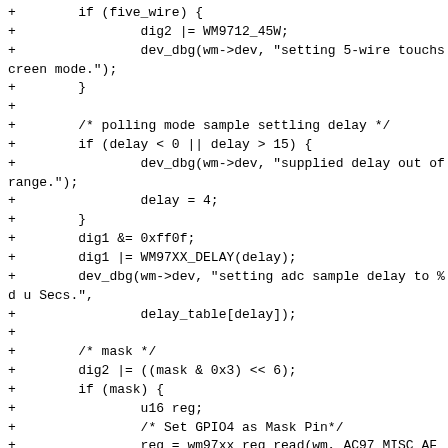[Figure (screenshot): Source code diff showing C code for touchscreen driver configuration, including five_wire mode, polling delay, digit register manipulation, mask handling, and GPIO/AC97 register read/write operations.]